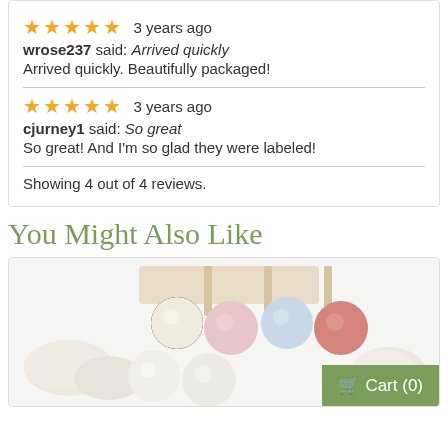★★★★★  3 years ago
wrose237 said: Arrived quickly
Arrived quickly. Beautifully packaged!
★★★★★  3 years ago
cjurney1 said: So great
So great! And I'm so glad they were labeled!
Showing 4 out of 4 reviews.
You Might Also Like
[Figure (photo): Photo of colorful marble-like balls in a wooden tray, with white chalk-like pieces around them. Cart (0) button visible in bottom right.]